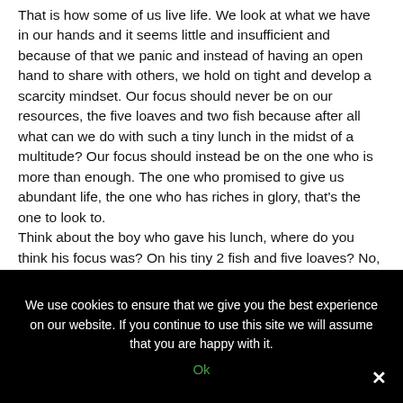That is how some of us live life. We look at what we have in our hands and it seems little and insufficient and because of that we panic and instead of having an open hand to share with others, we hold on tight and develop a scarcity mindset. Our focus should never be on our resources, the five loaves and two fish because after all what can we do with such a tiny lunch in the midst of a multitude? Our focus should instead be on the one who is more than enough. The one who promised to give us abundant life, the one who has riches in glory, that's the one to look to. Think about the boy who gave his lunch, where do you think his focus was? On his tiny 2 fish and five loaves? No, I don't think so, no wonder he was willing to give them away without any
We use cookies to ensure that we give you the best experience on our website. If you continue to use this site we will assume that you are happy with it.
Ok